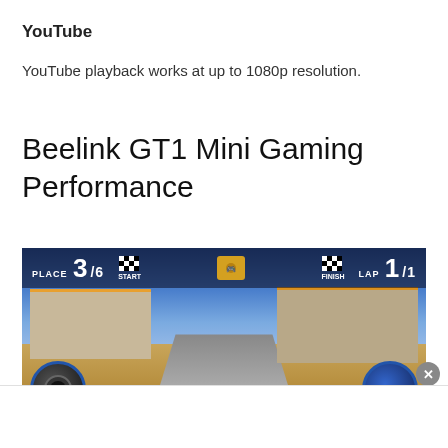YouTube
YouTube playback works at up to 1080p resolution.
Beelink GT1 Mini Gaming Performance
[Figure (screenshot): A kart racing video game screenshot showing PLACE 3/6 with START flag, FINISH flag, and LAP 1/1 HUD elements. Two kart characters visible in a Mediterranean-style racing track.]